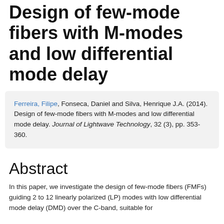Design of few-mode fibers with M-modes and low differential mode delay
Ferreira, Filipe, Fonseca, Daniel and Silva, Henrique J.A. (2014). Design of few-mode fibers with M-modes and low differential mode delay. Journal of Lightwave Technology, 32 (3), pp. 353-360.
Abstract
In this paper, we investigate the design of few-mode fibers (FMFs) guiding 2 to 12 linearly polarized (LP) modes with low differential mode delay (DMD) over the C-band, suitable for